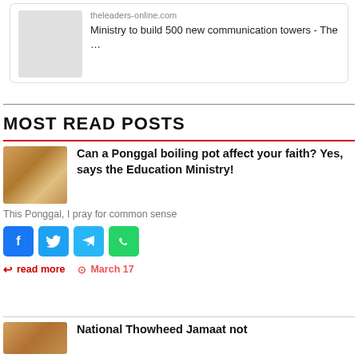theleaders-online.com
Ministry to build 500 new communication towers - The …
MOST READ POSTS
Can a Ponggal boiling pot affect your faith? Yes, says the Education Ministry!
This Ponggal, I pray for common sense
read more   March 17
National Thowheed Jamaat not